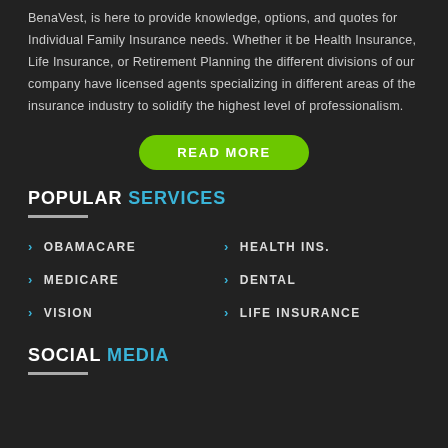BenaVest, is here to provide knowledge, options, and quotes for Individual Family Insurance needs. Whether it be Health Insurance, Life Insurance, or Retirement Planning the different divisions of our company have licensed agents specializing in different areas of the insurance industry to solidify the highest level of professionalism.
READ MORE
POPULAR SERVICES
OBAMACARE
HEALTH INS.
MEDICARE
DENTAL
VISION
LIFE INSURANCE
SOCIAL MEDIA